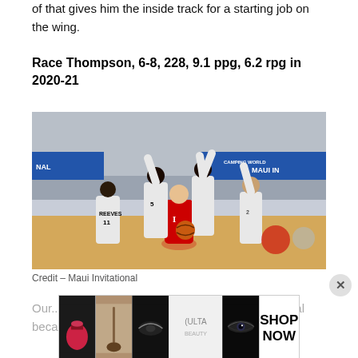of that gives him the inside track for a starting job on the wing.
Race Thompson, 6-8, 228, 9.1 ppg, 6.2 rpg in 2020-21
[Figure (photo): Basketball game photo showing an Indiana player in red jersey being defended by multiple players in white jerseys at the Maui Invitational tournament.]
Credit – Maui Invitational
[Figure (infographic): ULTA Beauty advertisement banner with makeup imagery and SHOP NOW call to action.]
Our... phi... decided not to stay in the transfer portal because